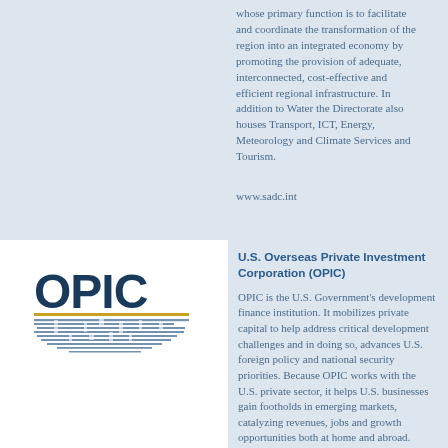whose primary function is to facilitate and coordinate the transformation of the region into an integrated economy by promoting the provision of adequate, interconnected, cost-effective and efficient regional infrastructure. In addition to Water the Directorate also houses Transport, ICT, Energy, Meteorology and Climate Services and Tourism.
www.sadc.int
[Figure (logo): OPIC logo showing bold dark blue text 'OPIC' above a stylized world map graphic with horizontal lines]
U.S. Overseas Private Investment Corporation (OPIC)
OPIC is the U.S. Government's development finance institution. It mobilizes private capital to help address critical development challenges and in doing so, advances U.S. foreign policy and national security priorities. Because OPIC works with the U.S. private sector, it helps U.S. businesses gain footholds in emerging markets, catalyzing revenues, jobs and growth opportunities both at home and abroad. OPIC achieves its mission by providing investors with